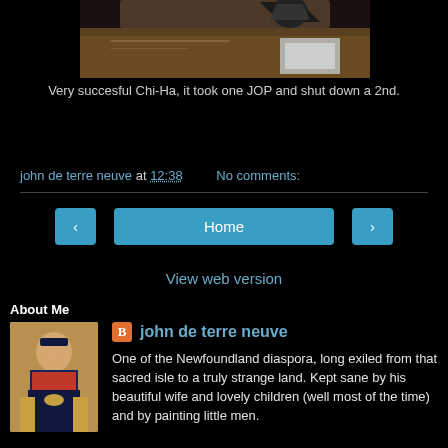[Figure (photo): Partial photo of a Chi-Ha tank model on a wooden surface with a black star shape visible at top]
Very succesful Chi-Ha, it took one JOP and shut down a 2nd.
john de terre neuve at 12:38    No comments:
Home
View web version
About Me
[Figure (photo): Profile photo of a painted figure resembling a Napoleonic-era soldier]
john de terre neuve
One of the Newfoundland diaspora, long exiled from that sacred isle to a truly strange land. Kept sane by his beautiful wife and lovely children (well most of the time) and by painting little men.